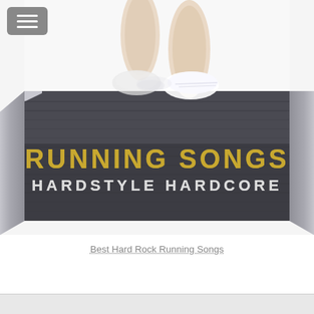[Figure (photo): Album art for 'Running Songs Hardstyle Hardcore' showing a person's legs running on a treadmill, with text overlay reading 'RUNNING SONGS' in gold and 'HARDSTYLE HARDCORE' in white/silver letters on the treadmill belt.]
Best Hard Rock Running Songs